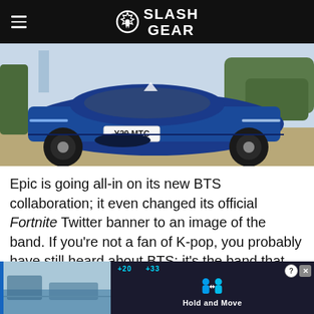SlashGear
[Figure (photo): Blue sports car (McLaren) shot from the front/rear angle, license plate Y29 MTC, parked on a gravel surface outdoors with trees in background.]
Epic is going all-in on its new BTS collaboration; it even changed its official Fortnite Twitter banner to an image of the band. If you're not a fan of K-pop, you probably have still heard about BTS: it's the band that set a new YouTube record with its song "Dynamite" last month. The hit received more than 101.1 million views in the first 24 hours after premiering.
[Figure (screenshot): Advertisement showing a mobile game interface with 'Hold and Move' text, two player icons, score indicators showing +20 and +33 at the top, close and help buttons in the upper right corner, on a dark background.]